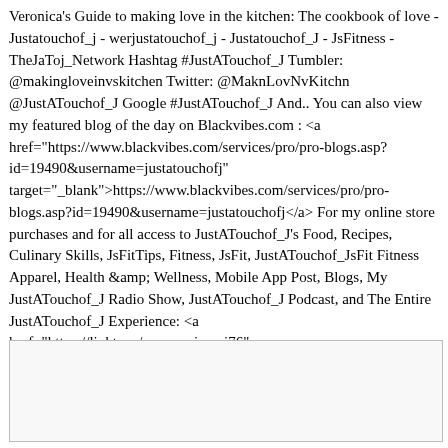Veronica's Guide to making love in the kitchen: The cookbook of love - Justatouchof_j - werjustatouchof_j - Justatouchof_J - JsFitness - TheJaToj_Network Hashtag #JustATouchof_J Tumbler: @makingloveinvskitchen Twitter: @MaknLovNvKitchn @JustATouchof_J Google #JustATouchof_J And.. You can also view my featured blog of the day on Blackvibes.com : <a href="https://www.blackvibes.com/services/pro/pro-blogs.asp?id=19490&username=justatouchofj" target="_blank">https://www.blackvibes.com/services/pro/pro-blogs.asp?id=19490&username=justatouchofj</a> For my online store purchases and for all access to JustATouchof_J's Food, Recipes, Culinary Skills, JsFitTips, Fitness, JsFit, JustATouchof_JsFit Fitness Apparel, Health &amp; Wellness, Mobile App Post, Blogs, My JustATouchof_J Radio Show, JustATouchof_J Podcast, and The Entire JustATouchof_J Experience: <a href="https://linktr.ee/mynameisroni76" target="_blank">https://linktr.ee/mynameisroni76</a> Smooches :) Bible Scripture's of the week: (Proverbs 23:7) For as a man thinketh in his heart, so is he.251896JustaATouchof_J,,VsPodcastTopics,,MobileApp,,Podcast,,